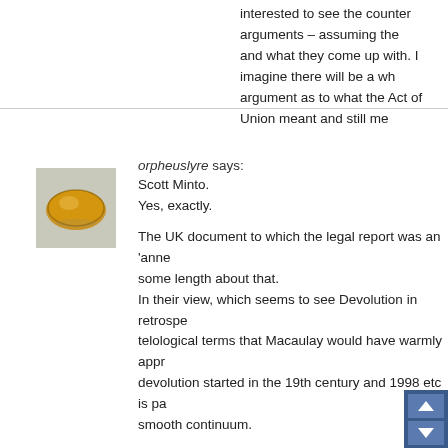interested to see the counter arguments – assuming there and what they come up with. I imagine there will be a who argument as to what the Act of Union meant and still mea
12 February, 2013 at 11:58 am
orpheuslyre says:
Scott Minto.
Yes, exactly.

The UK document to which the legal report was an 'anne some length about that.
In their view, which seems to see Devolution in retrospect telological terms that Macaulay would have warmly appro devolution started in the 19th century and 1998 etc is par smooth continuum.

That is somewhat at odds with what academic historians (and at odds with what actually happened in Ireland).

And from a scholarly point of view, it seems the two lawyers argument about subsumption rests on a singly i titled, and rather aging source – Parry & Hopkins... British Treaties, 1101-1968 (1970).